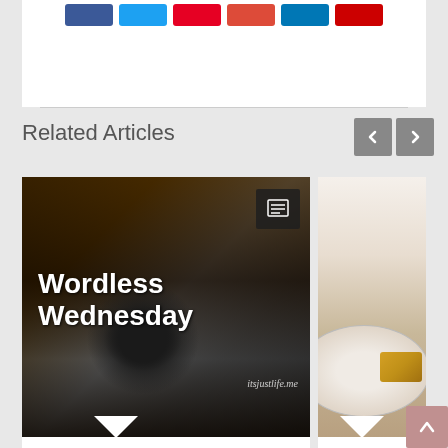[Figure (screenshot): Share buttons row: Facebook (blue), Twitter (cyan), Pinterest (red), Google+ (red-orange), LinkedIn (blue), Email (dark red)]
Related Articles
[Figure (photo): Wordless Wednesday blog post thumbnail: vintage camera in dark background with text 'Wordless Wednesday' and watermark 'itsjustlife.me', article icon in top-right corner]
At Day's End
[Figure (photo): Teacup article thumbnail: plate with food item, partial view cut off on the right side]
Teacup